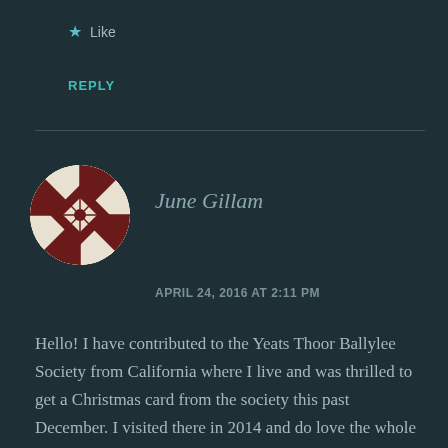★ Like
REPLY
[Figure (illustration): Round avatar with black and white geometric/quilt pattern design]
June Gillam
APRIL 24, 2016 AT 2:11 PM
Hello! I have contributed to the Yeats Thoor Ballylee Society from California where I live and was thrilled to get a Christmas card from the society this past December. I visited there in 2014 and do love the whole area. My novel House of Erie will be released this July 2016 at the California State Fair in Sacramento, CA. Part of the novel is set in Galway and Coole Park. At